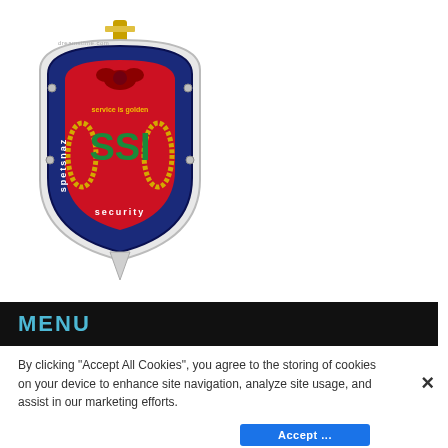[Figure (logo): Spetsnaz Security International (SSI) shield logo with sword, eagle, wreath, and 'SSI' text in center. Dark blue shield with red center panel, gold laurel branches, and text 'spetsnaz', 'security', 'international' on the borders.]
MENU
By clicking “Accept All Cookies”, you agree to the storing of cookies on your device to enhance site navigation, analyze site usage, and assist in our marketing efforts.